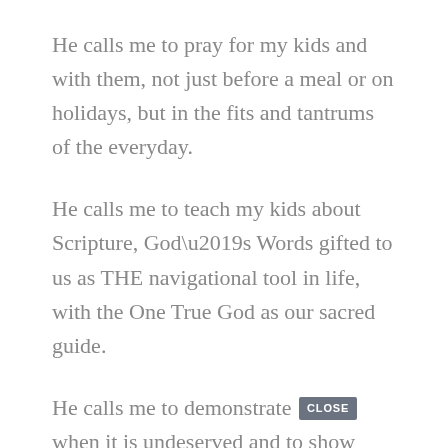He calls me to pray for my kids and with them, not just before a meal or on holidays, but in the fits and tantrums of the everyday.
He calls me to teach my kids about Scripture, God’s Words gifted to us as THE navigational tool in life, with the One True God as our sacred guide.
He calls me to demonstrate [CLOSE button] when it is undeserved and to show